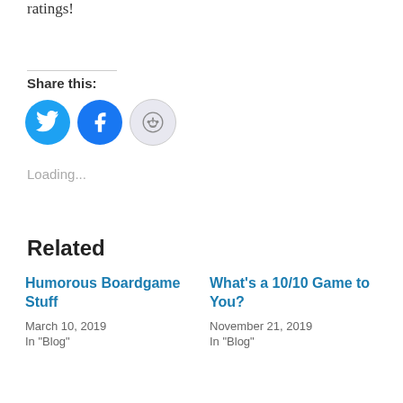ratings!
Share this:
[Figure (other): Social sharing icons: Twitter (blue bird), Facebook (blue f), Reddit (light grey alien)]
Loading...
Related
Humorous Boardgame Stuff
March 10, 2019
In "Blog"
What's a 10/10 Game to You?
November 21, 2019
In "Blog"